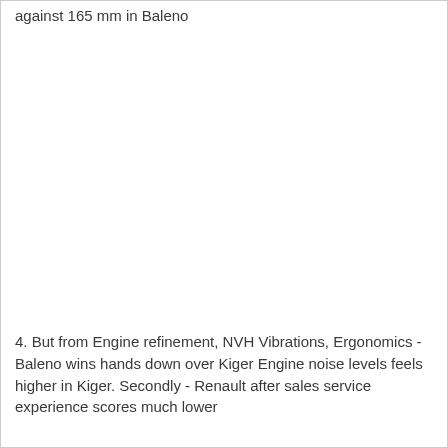against 165 mm in Baleno
4. But from Engine refinement, NVH Vibrations, Ergonomics - Baleno wins hands down over Kiger Engine noise levels feels higher in Kiger. Secondly - Renault after sales service experience scores much lower